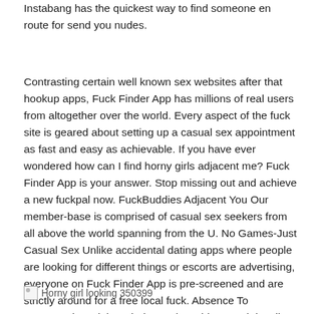Instabang has the quickest way to find someone en route for send you nudes.
Contrasting certain well known sex websites after that hookup apps, Fuck Finder App has millions of real users from altogether over the world. Every aspect of the fuck site is geared about setting up a casual sex appointment as fast and easy as achievable. If you have ever wondered how can I find horny girls adjacent me? Fuck Finder App is your answer. Stop missing out and achieve a new fuckpal now. FuckBuddies Adjacent You Our member-base is comprised of casual sex seekers from all above the world spanning from the U. No Games-Just Casual Sex Unlike accidental dating apps where people are looking for different things or escorts are advertising, everyone on Fuck Finder App is pre-screened and are strictly around for a free local fuck. Absence To MeetnFuck Tonight? Find A Fuck Buddy Search locally within a distance radius of your choosing.
[Figure (other): Broken image placeholder labeled 'Horny girl looking 350399']